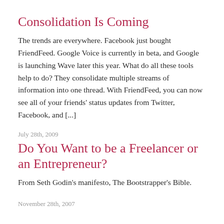Consolidation Is Coming
The trends are everywhere. Facebook just bought FriendFeed. Google Voice is currently in beta, and Google is launching Wave later this year. What do all these tools help to do? They consolidate multiple streams of information into one thread. With FriendFeed, you can now see all of your friends' status updates from Twitter, Facebook, and [...]
July 28th, 2009
Do You Want to be a Freelancer or an Entrepreneur?
From Seth Godin's manifesto, The Bootstrapper's Bible.
November 28th, 2007